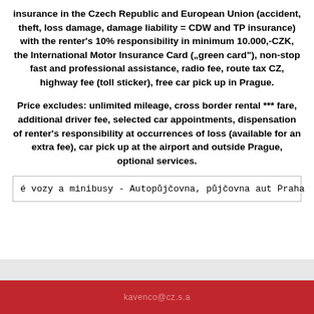insurance in the Czech Republic and European Union (accident, theft, loss damage, damage liability = CDW and TP insurance) with the renter's 10% responsibility in minimum 10.000,-CZK, the International Motor Insurance Card („green card“), non-stop fast and professional assistance, radio fee, route tax CZ, highway fee (toll sticker), free car pick up in Prague.
Price excludes: unlimited mileage, cross border rental *** fare, additional driver fee, selected car appointments, dispensation of renter’s responsibility at occurrences of loss (available for an extra fee), car pick up at the airport and outside Prague, optional services.
é vozy a minibusy - Autopůjčovna, půjčovna aut Praha
kavenco@cz.s.a